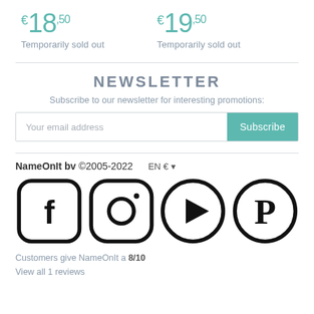€18,50 Temporarily sold out
€19,50 Temporarily sold out
NEWSLETTER
Subscribe to our newsletter for interesting promotions:
Your email address  Subscribe
NameOnIt bv ©2005-2022  EN €
[Figure (illustration): Social media icons: Facebook, Instagram, YouTube/Play, Pinterest]
Customers give NameOnIt a 8/10
View all 1 reviews